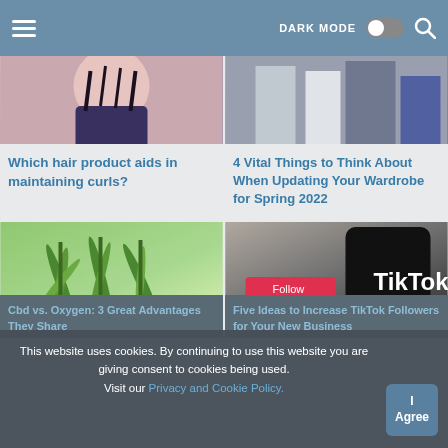DARK MODE  I Agree
[Figure (photo): Woman with hair product, maintaining curls]
[Figure (photo): People updating wardrobe for spring 2022]
Which hair product aids in maintaining curls?
4 Vital Things to Think About When Updating Your Wardrobe for Spring 2022
[Figure (photo): Cannabis / CBD plant leaves close-up]
[Figure (photo): TikTok app on smartphone with Follow button]
Cbd vs. Oxygen: 3 Great Advantages They Share
Five Ideas to Increase TikTok Followers for Your New Business
This website uses cookies. By continuing to use this website you are giving consent to cookies being used. Visit our Privacy and Cookie Policy.